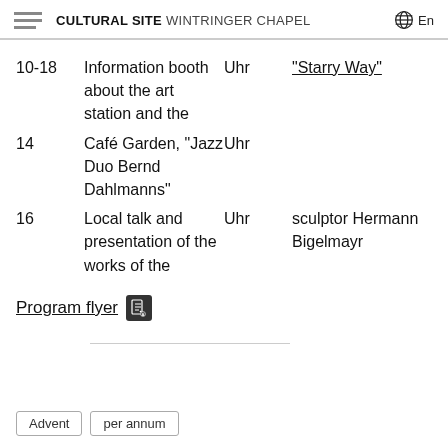CULTURAL SITE WINTRINGER CHAPEL En
10-18 Uhr  Information booth about the art station and the "Starry Way"
14 Uhr  Café Garden, "Jazz Duo Bernd Dahlmanns"
16 Uhr  Local talk and presentation of the works of the sculptor Hermann Bigelmayr
Program flyer
Advent
per annum